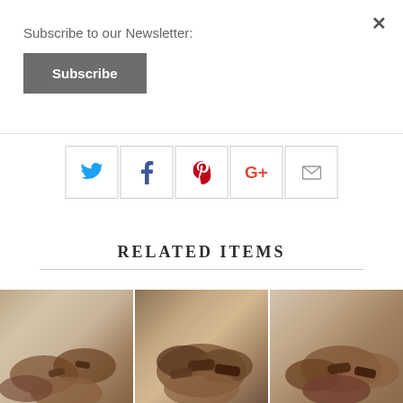×
Subscribe to our Newsletter:
Subscribe
[Figure (infographic): Social sharing icons row: Twitter (blue bird), Facebook (blue f), Pinterest (red P), Google+ (red G+), Email (grey envelope), each in a square bordered box]
RELATED ITEMS
[Figure (photo): Three food/chocolate product photos side by side, partially cropped at bottom of page]